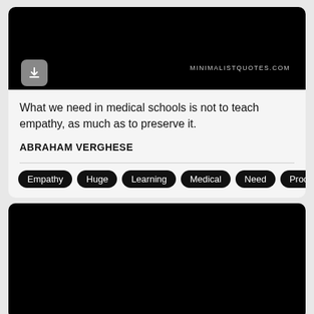[Figure (screenshot): Black image area at top of quote card with a grey download button (arrow down icon) in bottom-left and 'MINIMALISTQUOTES.COM' watermark text in grey on the right]
What we need in medical schools is not to teach empathy, as much as to preserve it.
ABRAHAM VERGHESE
Empathy
Huge
Learning
Medical
Need
Process
[Figure (photo): Black image area — bottom quote card image, fully dark]